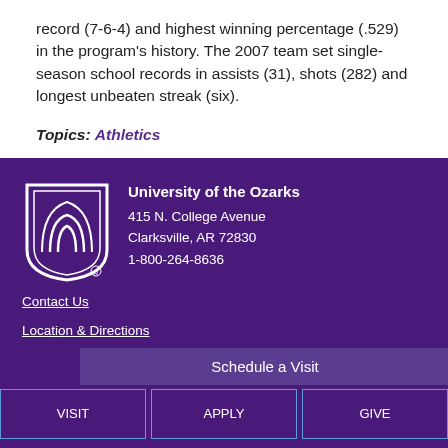record (7-6-4) and highest winning percentage (.529) in the program's history. The 2007 team set single-season school records in assists (31), shots (282) and longest unbeaten streak (six).
Topics: Athletics
University of the Ozarks
415 N. College Avenue
Clarksville, AR 72830
1-800-264-8636
Contact Us
Location & Directions
Schedule a Visit
VISIT | APPLY | GIVE